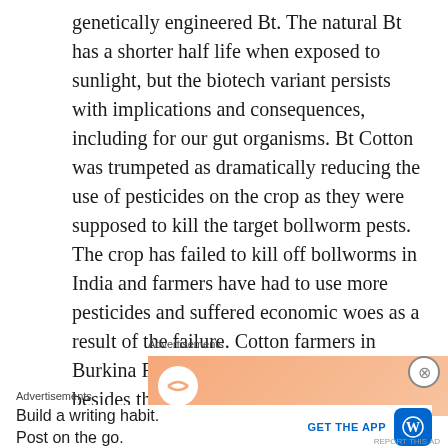genetically engineered Bt. The natural Bt has a shorter half life when exposed to sunlight, but the biotech variant persists with implications and consequences, including for our gut organisms. Bt Cotton was trumpeted as dramatically reducing the use of pesticides on the crop as they were supposed to kill the target bollworm pests. The crop has failed to kill off bollworms in India and farmers have had to use more pesticides and suffered economic woes as a result of the failure. Cotton farmers in Burkina Faso complained of this failure, besides the fact of poor-quality fibers. It is that failure that is being celebrated in Nigeria.
Advertisements
[Figure (other): Advertisement banner with gradient orange/peach background, a small circular logo on left and a dark button on right]
Advertisements
[Figure (other): WordPress app advertisement: 'Build a writing habit. Post on the go.' with GET THE APP button and WordPress logo]